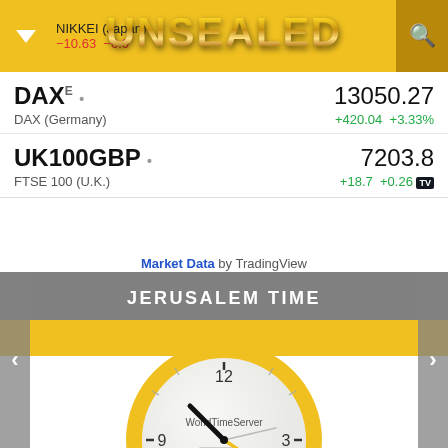NIKKEI (Japan)  27050.  -10.63  -0.0
[Figure (logo): UNSEALED gold metallic logo text]
| DAX E • | 13050.27 |
| DAX (Germany) | +420.04  +3.33% |
| UK100GBP • | 7203.8 |
| FTSE 100 (U.K.) | +18.7  +0.26 |
Market Data by TradingView
JERUSALEM TIME
[Figure (other): Analog clock face showing approximately 2:42 PM, WorldTimeServer branding, gold bezel, PM indicator box]